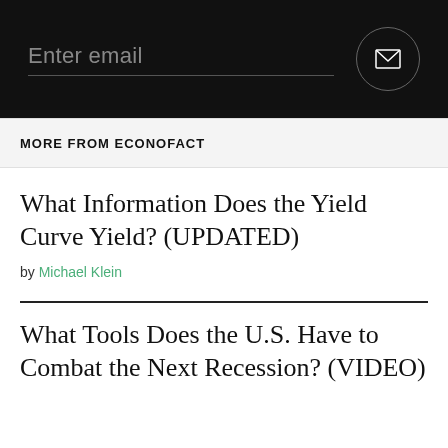[Figure (other): Dark email signup bar with 'Enter email' placeholder text input field and a circular envelope/send button on the right]
MORE FROM ECONOFACT
What Information Does the Yield Curve Yield? (UPDATED)
by Michael Klein
What Tools Does the U.S. Have to Combat the Next Recession? (VIDEO)